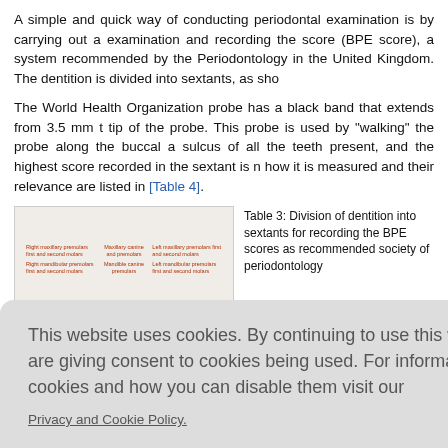A simple and quick way of conducting periodontal examination is by carrying out a examination and recording the score (BPE score), a system recommended by the Periodontology in the United Kingdom. The dentition is divided into sextants, as sho
The World Health Organization probe has a black band that extends from 3.5 mm t tip of the probe. This probe is used by "walking" the probe along the buccal a sulcus of all the teeth present, and the highest score recorded in the sextant is n how it is measured and their relevance are listed in [Table 4].
[Figure (table-as-image): Table showing division of dentition into sextants with columns for Right maxillary premolars first and second molars, Maxillary canine and premolars, Left maxillary premolars first and second molars, Right mandibular premolars first and second molars, Mandibular canine premolars, Left mandibular premolars first and second molars]
Table 3: Division of dentition into sextants for recording the BPE scores as recommended society of periodontology
This website uses cookies. By continuing to use this website you are giving consent to cookies being used. For information on cookies and how you can disable them visit our
Privacy and Cookie Policy.
AGREE & PROCEED